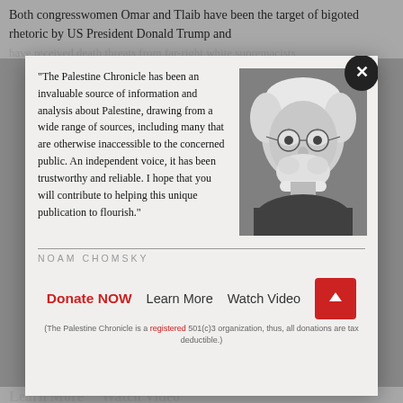Both congresswomen Omar and Tlaib have been the target of bigoted rhetoric by US President Donald Trump and have received death threats from far-right white supremacists
[Figure (photo): Black and white portrait photo of Noam Chomsky, an elderly man with white hair and beard, wearing glasses]
"The Palestine Chronicle has been an invaluable source of information and analysis about Palestine, drawing from a wide range of sources, including many that are otherwise inaccessible to the concerned public. An independent voice, it has been trustworthy and reliable. I hope that you will contribute to helping this unique publication to flourish."
NOAM CHOMSKY
Donate NOW   Learn More   Watch Video
(The Palestine Chronicle is a registered 501(c)3 organization, thus, all donations are tax deductible.)